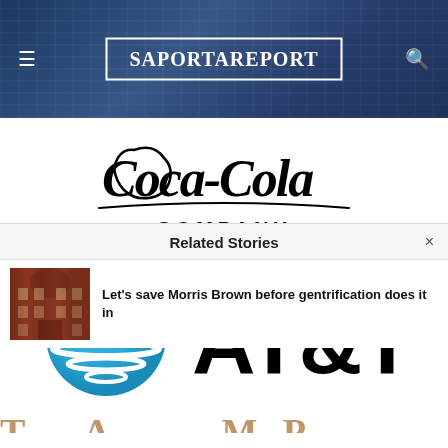SaportaReport
[Figure (logo): The Coca-Cola Company logo — classic Coca-Cola script above 'COMPANY' in bold sans-serif]
[Figure (logo): AT&T logo — blue sphere/globe icon alongside bold black AT&T text]
[Figure (logo): Partial view of another logo in brown/orange color, letters T, A, M, R partially visible]
Related Stories
[Figure (photo): Thumbnail photo of a red-brick building, appears to be Morris Brown College]
Let's save Morris Brown before gentrification does it in